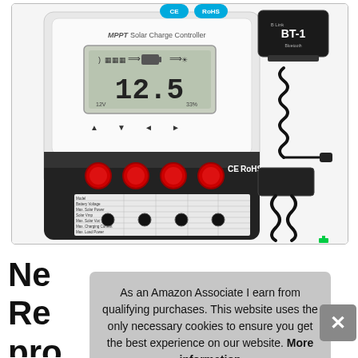[Figure (photo): Product photo of an MPPT Solar Charge Controller with LCD display showing 12.5, red buttons, CE/RoHS markings, and a BT-1 Bluetooth module with coiled cable accessories on the right side.]
Ne Re pro Lithium and Sealed Gel AGM Flooded
As an Amazon Associate I earn from qualifying purchases. This website uses the only necessary cookies to ensure you get the best experience on our website. More information